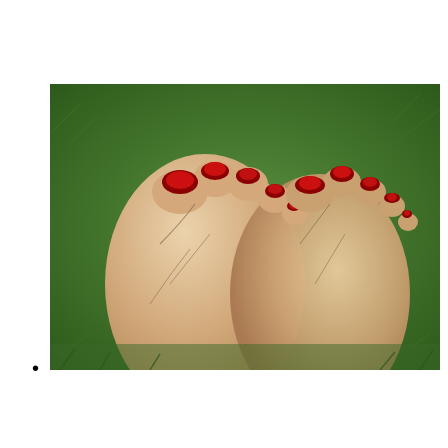What Is Early-Onset Osteoarthritis?
[Figure (photo): Close-up photograph of two bare feet with red painted toenails placed side by side on a green grass background, showing visible toe joints and veins, suggestive of joint conditions.]